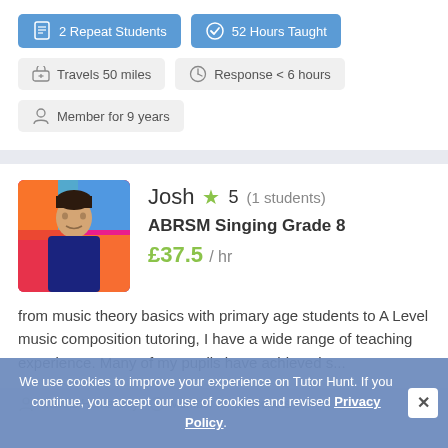2 Repeat Students
52 Hours Taught
Travels 50 miles
Response < 6 hours
Member for 9 years
Josh  5 (1 students)
ABRSM Singing Grade 8
£37.5 / hr
from music theory basics with primary age students to A Level music composition tutoring, I have a wide range of teaching experience. Many of my pupils have achieved s...
We use cookies to improve your experience on Tutor Hunt. If you continue, you accept our use of cookies and revised Privacy Policy.
Travels Home only
Member for 12 months